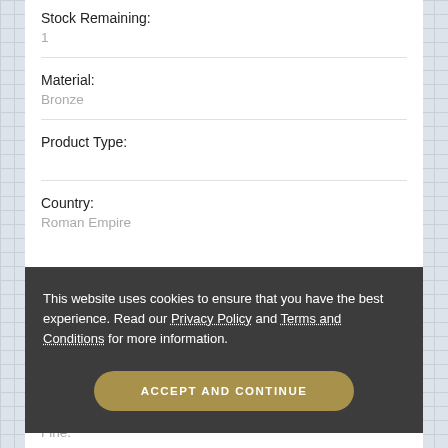Stock Remaining:
1
Material:
Bronze
Product Type:
Country:
Roman Empire
This website uses cookies to ensure that you have the best experience. Read our Privacy Policy and Terms and Conditions for more information.
ACCEPT AND CONTINUE
Fine.